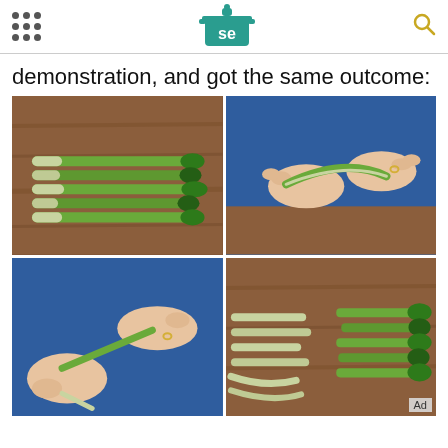Serious Eats logo and navigation
demonstration, and got the same outcome:
[Figure (photo): Four-panel photo collage showing asparagus preparation: top-left shows raw asparagus stalks laid on a wooden cutting board; top-right shows hands in blue shirt bending an asparagus spear to snap it; bottom-left shows hands snapping an asparagus spear with the bent piece falling; bottom-right shows asparagus stalks with the woody ends snapped off, separated on a wooden board.]